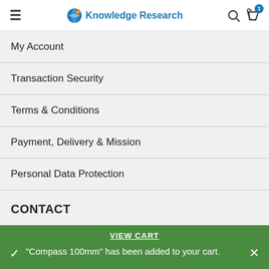Knowledge Research
My Account
Transaction Security
Terms & Conditions
Payment, Delivery & Mission
Personal Data Protection
CONTACT
We use cookies to improve your experience on our website. By browsing this website, you agree to our
VIEW CART
"Compass 100mm" has been added to your cart.